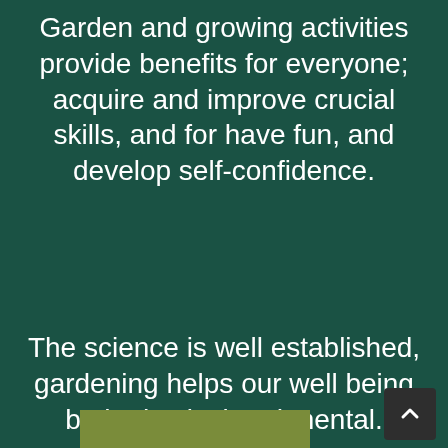Garden and growing activities provide benefits for everyone; acquire and improve crucial skills, and for have fun, and develop self-confidence.
The science is well established, gardening helps our well being both physical and mental.